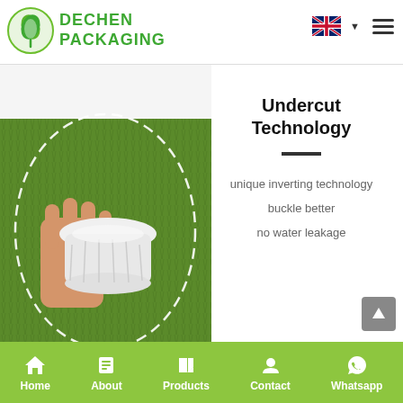[Figure (logo): Dechen Packaging logo: green circular leaf/hand icon with green bold text DECHEN PACKAGING]
[Figure (photo): A hand holding a white plastic cup/lid component against a green grass background with a dashed oval outline]
Undercut Technology
unique inverting technology
buckle better
no water leakage
Home  About  Products  Contact  Whatsapp